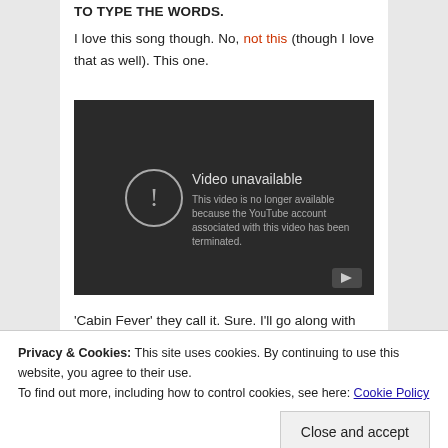TO TYPE THE WORDS.
I love this song though. No, not this (though I love that as well). This one.
[Figure (screenshot): Embedded YouTube video player showing 'Video unavailable' message: 'This video is no longer available because the YouTube account associated with this video has been terminated.']
'Cabin Fever' they call it. Sure. I'll go along with
Privacy & Cookies: This site uses cookies. By continuing to use this website, you agree to their use.
To find out more, including how to control cookies, see here: Cookie Policy
Betcha they drink in public and scrawl marker pen on their hands.